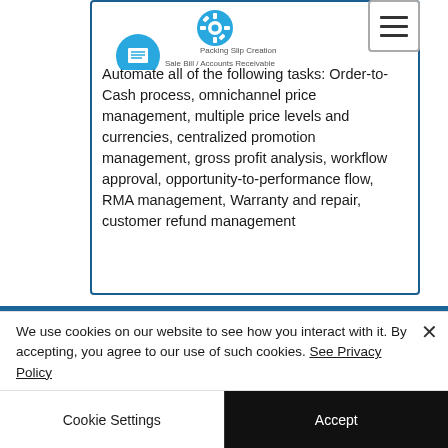[Figure (screenshot): Partial screenshot of a product feature card with blue border, showing icons (Packing Slip Creation, Sales Bill/Accounts Receivable) at top and a hamburger menu button in top-right corner.]
Automate all of the following tasks: Order-to-Cash process, omnichannel price management, multiple price levels and currencies, centralized promotion management, gross profit analysis, workflow approval, opportunity-to-performance flow, RMA management, Warranty and repair, customer refund management
We use cookies on our website to see how you interact with it. By accepting, you agree to our use of such cookies. See Privacy Policy
Cookie Settings
Accept